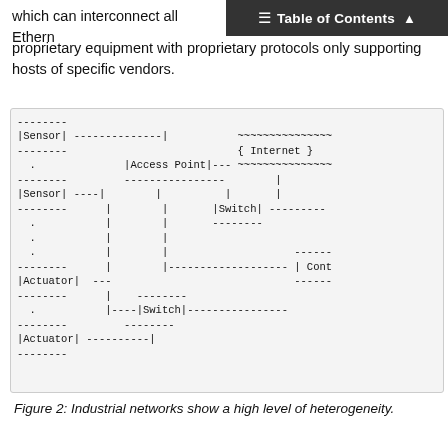Table of Contents
which can interconnect all Ethernet proprietary equipment with proprietary protocols only supporting hosts of specific vendors.
[Figure (network-graph): ASCII art diagram of an industrial network showing Edge Devices (Sensors, Actuators), Networking Devices (Access Point, Switch), and Control components connected to the Internet.]
Figure 2: Industrial networks show a high level of heterogeneity.